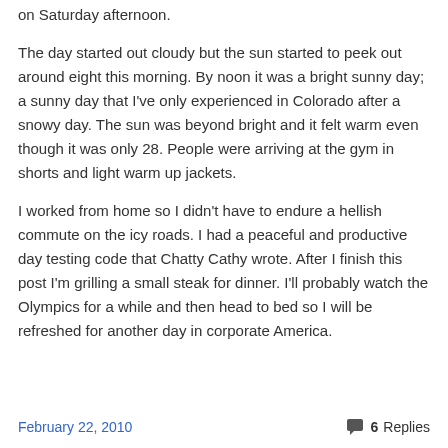on Saturday afternoon.
The day started out cloudy but the sun started to peek out around eight this morning. By noon it was a bright sunny day; a sunny day that I've only experienced in Colorado after a snowy day. The sun was beyond bright and it felt warm even though it was only 28. People were arriving at the gym in shorts and light warm up jackets.
I worked from home so I didn't have to endure a hellish commute on the icy roads. I had a peaceful and productive day testing code that Chatty Cathy wrote. After I finish this post I'm grilling a small steak for dinner. I'll probably watch the Olympics for a while and then head to bed so I will be refreshed for another day in corporate America.
February 22, 2010    6 Replies